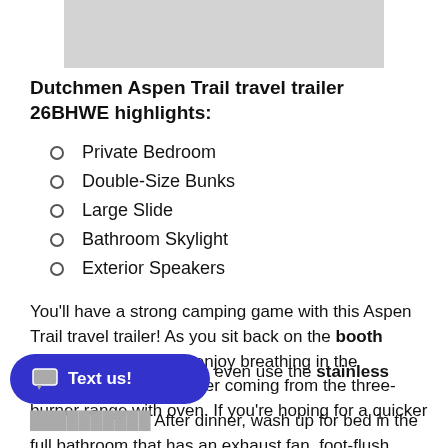[Figure (photo): Gray placeholder image bar at the top of the page]
Dutchmen Aspen Trail travel trailer 26BHWE highlights:
Private Bedroom
Double-Size Bunks
Large Slide
Bathroom Skylight
Exterior Speakers
You'll have a strong camping game with this Aspen Trail travel trailer! As you sit back on the booth dinette or sofa, you'll enjoy breathing in the delicious smells of dinner coming from the three-burner range with oven. If you're hoping for a quicker meal, you can even use the stainless steel microwave! After dinner, wash up for bed in the full bathroom that has an exhaust fan, foot-flush toilet